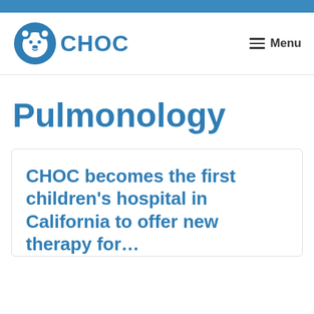CHOC | Menu
Pulmonology
CHOC becomes the first children's hospital in California to offer new therapy for…